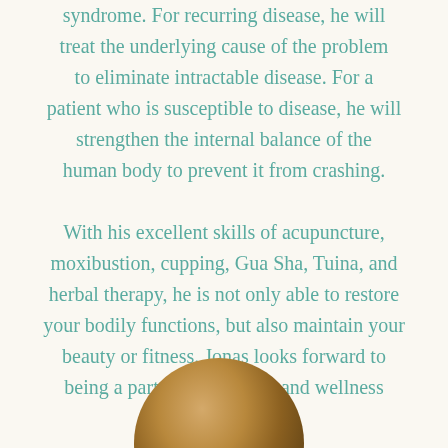syndrome. For recurring disease, he will treat the underlying cause of the problem to eliminate intractable disease. For a patient who is susceptible to disease, he will strengthen the internal balance of the human body to prevent it from crashing.

With his excellent skills of acupuncture, moxibustion, cupping, Gua Sha, Tuina, and herbal therapy, he is not only able to restore your bodily functions, but also maintain your beauty or fitness. Jonas looks forward to being a part of your health and wellness journey!
[Figure (photo): Circular portrait photo of a person, partially visible at the bottom of the page]